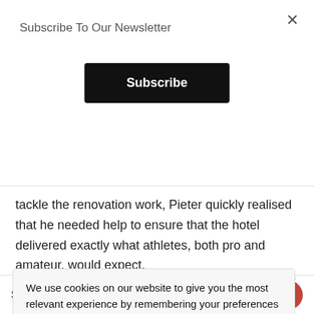Subscribe To Our Newsletter
Subscribe
tackle the renovation work, Pieter quickly realised that he needed help to ensure that the hotel delivered exactly what athletes, both pro and amateur, would expect.
We use cookies on our website to give you the most relevant experience by remembering your preferences and repeat visits. By clicking “Accept”, you consent to the use of ALL the cookies.
chiropractor by since the age of e-focussed on is still winning on and was an
Starting from R800.00
Book Now